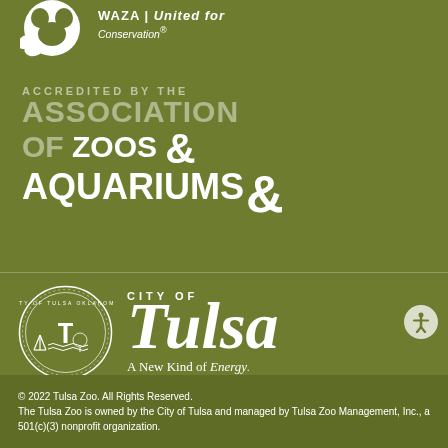[Figure (logo): WAZA United for Conservation logo with globe icon and text]
[Figure (logo): Association of Zoos and Aquariums accreditation badge with large stylized text]
[Figure (logo): City of Tulsa seal and wordmark with tagline A New Kind of Energy]
© 2022 Tulsa Zoo. All Rights Reserved. The Tulsa Zoo is owned by the City of Tulsa and managed by Tulsa Zoo Management, Inc., a 501(c)(3) nonprofit organization.